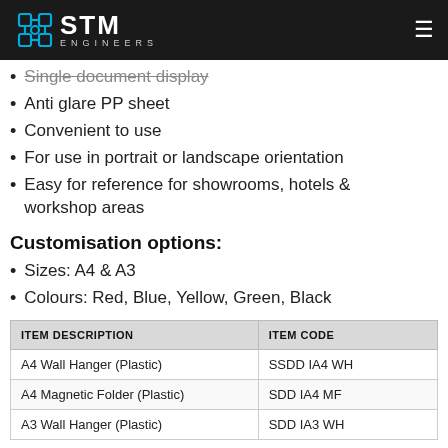STM ENGINEERS
Single document display
Anti glare PP sheet
Convenient to use
For use in portrait or landscape orientation
Easy for reference for showrooms, hotels & workshop areas
Customisation options:
Sizes: A4 & A3
Colours: Red, Blue, Yellow, Green, Black
| ITEM DESCRIPTION | ITEM CODE |
| --- | --- |
| A4 Wall Hanger (Plastic) | SSDD IA4 WH |
| A4 Magnetic Folder (Plastic) | SDD IA4 MF |
| A3 Wall Hanger (Plastic) | SDD IA3 WH |